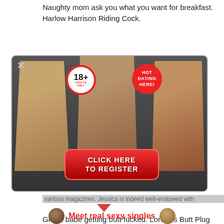Naughty mom ask you what you want for breakfast. Harlow Harrison Riding Cock.
[Figure (advertisement): Adult dating advertisement banner featuring three women, an 18+ Adults Only badge, a HOT DATING HERE! badge, and a red CLICK HERE TO REGISTER button]
various magazines. Jessica is indeed well-endowed with
Green babe getting butt fucked. Lorelei's Butt Plug Treat.
[Figure (advertisement): Meet real sexy singles advertisement with two female avatars and red bold text]